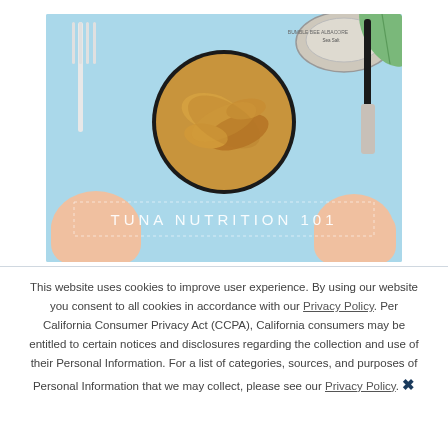[Figure (photo): A top-down food photography image on a light blue background. Two hands hold a fork (left) and a knife (right). In the center is an open can of Bumble Bee albacore tuna with visible tuna inside. A tuna can lid is visible in the top right corner along with a green leaf. Text overlay reads 'TUNA NUTRITION 101' in a dashed-border box.]
This website uses cookies to improve user experience. By using our website you consent to all cookies in accordance with our Privacy Policy. Per California Consumer Privacy Act (CCPA), California consumers may be entitled to certain notices and disclosures regarding the collection and use of their Personal Information. For a list of categories, sources, and purposes of Personal Information that we may collect, please see our Privacy Policy. ✕